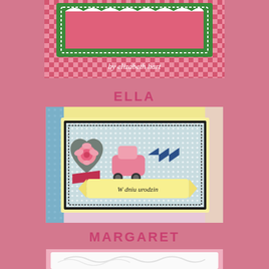[Figure (photo): Top portion of a crafted greeting card by Elizabeth Hart, featuring green and pink checkered/gingham pattern border with white lace-like decorative edge, text 'by elizabeth hart' in white script on pink gingham]
ELLA
[Figure (photo): Handmade birthday card with light blue polka dot background. Features a decorative heart shape with floral pattern, a pink rose, a small pink car, blue chevron arrows, and a yellow banner reading 'W dniu urodzin' (Polish for 'On your birthday'). Card is mounted on yellow cardstock surrounded by colorful patterned papers.]
MARGARET
[Figure (photo): Bottom portion of a pink embossed/textured crafted card, showing pink layered paper with decorative embossed swirl pattern on white cardstock]